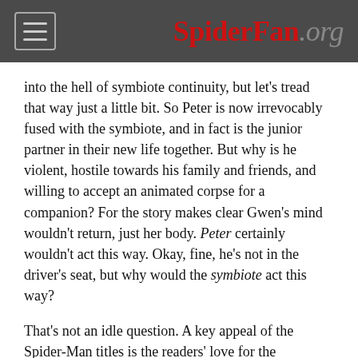SpiderFan.org
into the hell of symbiote continuity, but let's tread that way just a little bit. So Peter is now irrevocably fused with the symbiote, and in fact is the junior partner in their new life together. But why is he violent, hostile towards his family and friends, and willing to accept an animated corpse for a companion? For the story makes clear Gwen's mind wouldn't return, just her body. Peter certainly wouldn't act this way. Okay, fine, he's not in the driver's seat, but why would the symbiote act this way?
That's not an idle question. A key appeal of the Spider-Man titles is the readers' love for the characters. Refusing to explain why these characters behave as they do is a cardinal sin.
So. Poisoned Minds can be summed up really quickly: Peter comes back from the dead, but this time it's in a